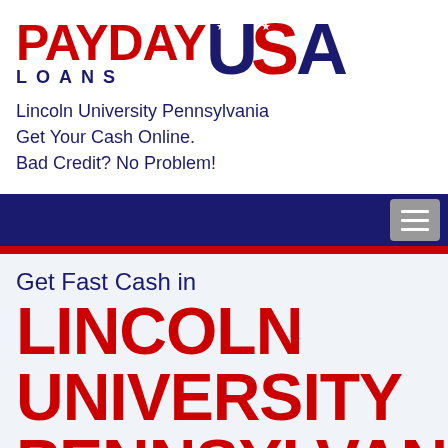[Figure (logo): Payday Loans USA logo with red PAYDAY and USA text, dark blue LOANS text, stars on USA letters]
Lincoln University Pennsylvania
Get Your Cash Online.
Bad Credit? No Problem!
[Figure (other): Dark navy navigation bar with red bottom stripe and hamburger menu icon]
Get Fast Cash in
LINCOLN
UNIVERSITY
PENNSYLVANIA